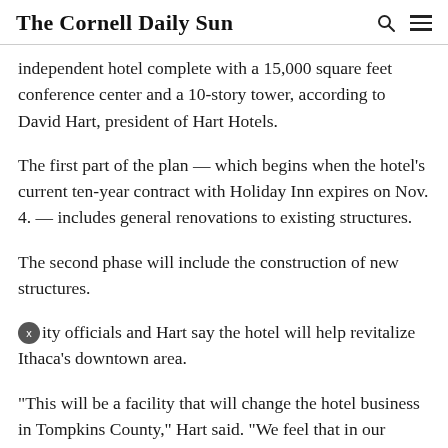The Cornell Daily Sun
independent hotel complete with a 15,000 square feet conference center and a 10-story tower, according to David Hart, president of Hart Hotels.
The first part of the plan — which begins when the hotel's current ten-year contract with Holiday Inn expires on Nov. 4. — includes general renovations to existing structures.
The second phase will include the construction of new structures.
City officials and Hart say the hotel will help revitalize Ithaca's downtown area.
“This will be a facility that will change the hotel business in Tompkins County,” Hart said. “We feel that in our